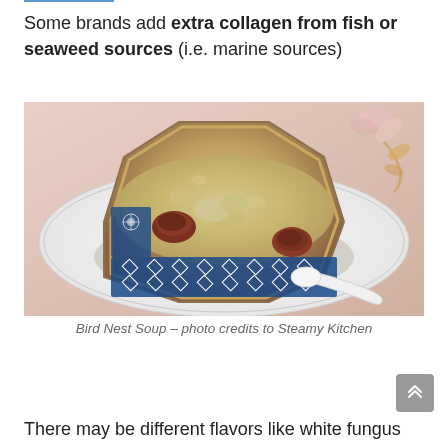Some brands add extra collagen from fish or seaweed sources (i.e. marine sources)
[Figure (photo): A bowl of Bird Nest Soup served in a decorative blue and white Chinese porcelain octagonal bowl on a white plate, with red jujube dates and translucent bird nest pieces visible in the golden broth. A white ceramic spoon rests on the plate.]
Bird Nest Soup – photo credits to Steamy Kitchen
There may be different flavors like white fungus